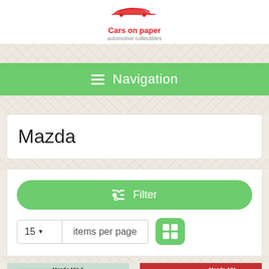[Figure (logo): Cars on paper logo with red car silhouette and text 'Cars on paper / automotive collectibles']
Navigation
Mazda
Filter
15 items per page
[Figure (photo): Mazda MX-5 brochure thumbnail]
[Figure (photo): Mazda 121 brochure thumbnail]